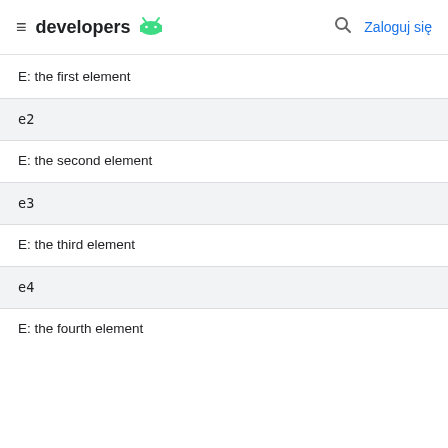developers  Zaloguj się
E: the first element
e2
E: the second element
e3
E: the third element
e4
E: the fourth element